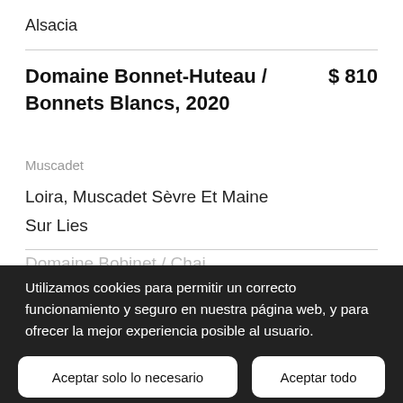Alsacia
Domaine Bonnet-Huteau / Bonnets Blancs, 2020
$ 810
Muscadet
Loira, Muscadet Sèvre Et Maine
Sur Lies
Utilizamos cookies para permitir un correcto funcionamiento y seguro en nuestra página web, y para ofrecer la mejor experiencia posible al usuario.
Aceptar solo lo necesario
Aceptar todo